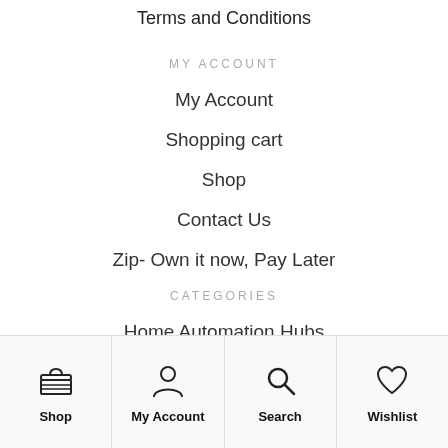Terms and Conditions
MY ACCOUNT
My Account
Shopping cart
Shop
Contact Us
Zip- Own it now, Pay Later
CATEGORIES
Home Automation Hubs
Smart Security
Smart Lighting
Shop | My Account | Search | Wishlist